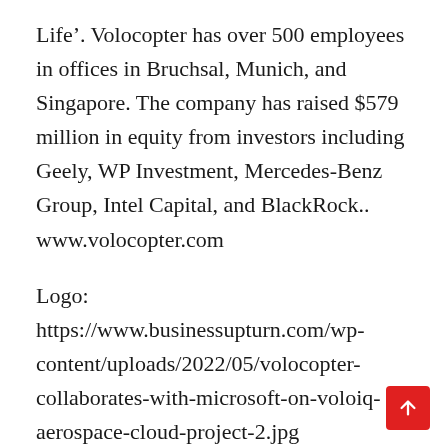Life'. Volocopter has over 500 employees in offices in Bruchsal, Munich, and Singapore. The company has raised $579 million in equity from investors including Geely, WP Investment, Mercedes-Benz Group, Intel Capital, and BlackRock.. www.volocopter.com
Logo: https://www.businessupturn.com/wp-content/uploads/2022/05/volocopter-collaborates-with-microsoft-on-voloiq-aerospace-cloud-project-2.jpg
Photo: https://www.businessupturn.com/wp-content/uploads/2022/05/volocopter-collaborates